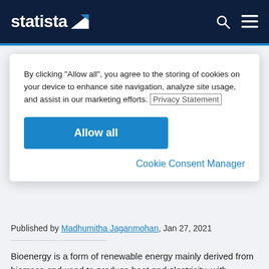statista
By clicking “Allow all”, you agree to the storing of cookies on your device to enhance site navigation, analyze site usage, and assist in our marketing efforts. Privacy Statement
Allow all
Cookie Consent Manager
Published by Madhumitha Jaganmohan, Jan 27, 2021
Bioenergy is a form of renewable energy mainly derived from biomass and used to produce heat and electricity, with biomass also used as transportation fuel and for the manufacturing of industrial products. Biomass material